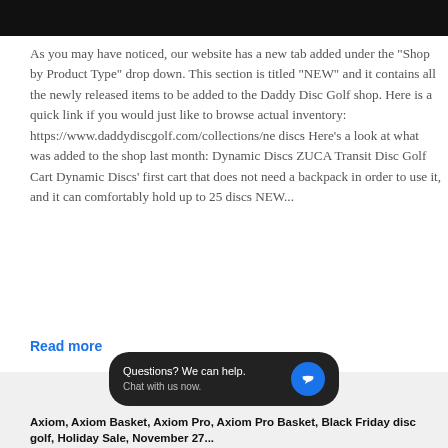[Figure (other): Black header bar at top of page, partially visible decorative script text in white]
As you may have noticed, our website has a new tab added under the "Shop by Product Type" drop down. This section is titled "NEW" and it contains all the newly released items to be added to the Daddy Disc Golf shop. Here is a quick link if you would just like to browse actual inventory: https://www.daddydiscgolf.com/collections/ne discs Here's a look at what was added to the shop last month: Dynamic Discs ZUCA Transit Disc Golf Cart Dynamic Discs' first cart that does not need a backpack in order to use it, and it can comfortably hold up to 25 discs NEW...
Read more
[Figure (screenshot): Chat widget popup with dark rounded rectangle background. Text: 'Questions? We can help.' and 'Chat with us now.' with blue circle chat icon on the right.]
Axiom, Axiom Basket, Axiom Pro, Axiom Pro Basket, Black Fri...